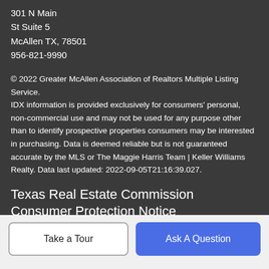301 N Main
St Suite 5
McAllen TX, 78501
956-821-9990
© 2022 Greater McAllen Association of Realtors Multiple Listing Service.
IDX information is provided exclusively for consumers' personal, non-commercial use and may not be used for any purpose other than to identify prospective properties consumers may be interested in purchasing. Data is deemed reliable but is not guaranteed accurate by the MLS or The Maggie Harris Team | Keller Williams Realty. Data last updated: 2022-09-05T21:16:39.027.
Texas Real Estate Commission Consumer Protection Notice
Take a Tour
Ask A Question